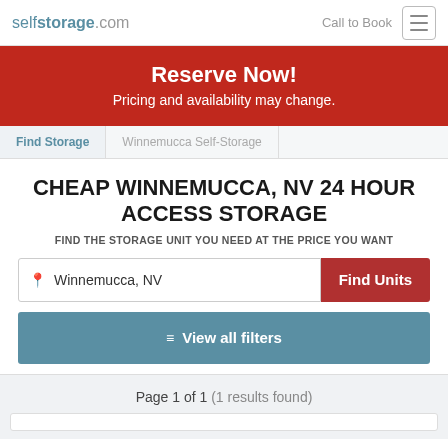selfstorage.com  Call to Book
Reserve Now! Pricing and availability may change.
Find Storage  Winnemucca Self-Storage
CHEAP WINNEMUCCA, NV 24 HOUR ACCESS STORAGE
FIND THE STORAGE UNIT YOU NEED AT THE PRICE YOU WANT
Winnemucca, NV  Find Units
View all filters
Page 1 of 1 (1 results found)